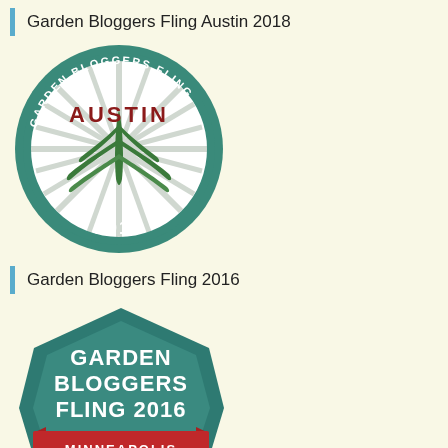Garden Bloggers Fling Austin 2018
[Figure (logo): Garden Bloggers Fling Austin 2018 circular badge logo with teal border, sunburst rays, agave plant in center, text AUSTIN in dark red, year 2018 at bottom]
Garden Bloggers Fling 2016
[Figure (logo): Garden Bloggers Fling 2016 Minneapolis hexagonal badge logo in teal with white text GARDEN BLOGGERS FLING 2016, red ribbon banner with MINNEAPOLIS, garden tools at bottom]